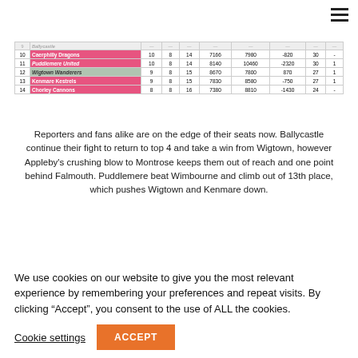| # | Team | P | W | L | GF | GA | GD | Pts |  |
| --- | --- | --- | --- | --- | --- | --- | --- | --- | --- |
| 10 | Caerphilly Dragons | 10 | 8 | 14 | 7166 | 7980 | -820 | 30 | - |
| 11 | Puddlemere United | 10 | 8 | 14 | 8140 | 10460 | -2320 | 30 | 1 |
| 12 | Wigtown Wanderers | 9 | 8 | 15 | 8670 | 7800 | 870 | 27 | 1 |
| 13 | Kenmare Kestrels | 9 | 8 | 15 | 7830 | 8580 | -750 | 27 | 1 |
| 14 | Chorley Cannons | 8 | 8 | 16 | 7380 | 8810 | -1430 | 24 | - |
Reporters and fans alike are on the edge of their seats now. Ballycastle continue their fight to return to top 4 and take a win from Wigtown, however Appleby's crushing blow to Montrose keeps them out of reach and one point behind Falmouth. Puddlemere beat Wimbourne and climb out of 13th place, which pushes Wigtown and Kenmare down.
Moving on to matchweek 25, our first game took us
We use cookies on our website to give you the most relevant experience by remembering your preferences and repeat visits. By clicking “Accept”, you consent to the use of ALL the cookies.